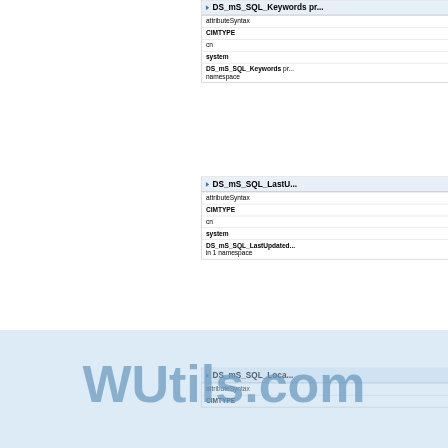| DS_mS_SQL_Keywords (truncated) |
| --- |
| attributeSyntax |
| CIMTYPE |
| cn |
| system |
| DS_mS_SQL_Keywords pr... namespace |
| DS_mS_SQL_LastU... (truncated) |
| --- |
| attributeSyntax |
| CIMTYPE |
| cn |
| system |
| DS_mS_SQL_LastUpdated... in 1 namespace |
| DS_mS_SQL_Loca... (truncated) |
| --- |
| attributeSyntax |
| CIMTYPE |
[Figure (other): WUtils.com watermark overlay]